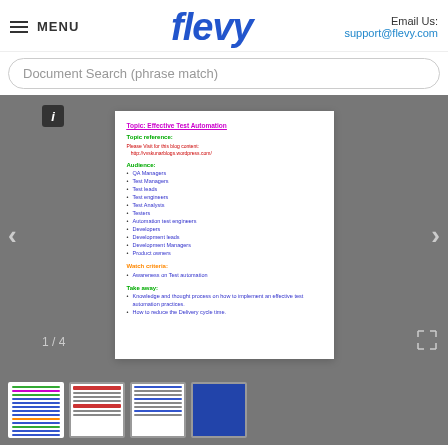MENU | flevy | Email Us: support@flevy.com
Document Search (phrase match)
[Figure (screenshot): Screenshot of a Flevy document viewer showing a slide with Topic: Effective Test Automation, including Topic reference, Audience list, Watch criteria, and Take away sections]
Topic: Effective Test Automation
Topic reference:
Please Visit for this blog content:
http://vvskunarblogs.wordpress.com/
Audience:
QA Managers
Test Managers
Test leads
Test engineers
Test Analysts
Testers
Automation test engineers
Developers
Development leads
Development Managers
Product owners
Watch criteria:
Awareness on Test automation
Take away:
Knowledge and thought process on how to implement an effective test automation practices.
How to reduce the Delivery cycle time.